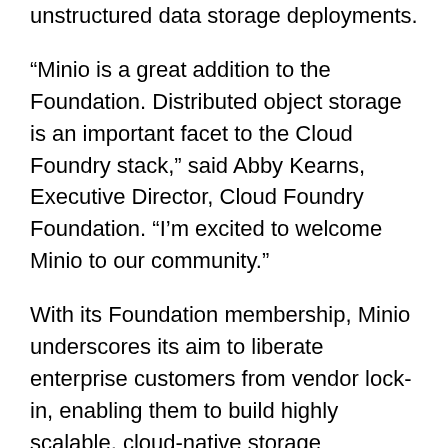unstructured data storage deployments.
“Minio is a great addition to the Foundation. Distributed object storage is an important facet to the Cloud Foundry stack,” said Abby Kearns, Executive Director, Cloud Foundry Foundation. “I’m excited to welcome Minio to our community.”
With its Foundation membership, Minio underscores its aim to liberate enterprise customers from vendor lock-in, enabling them to build highly scalable, cloud-native storage solutions.
About Minio
Based in Palo Alto, California, Minio was founded in 2014 and provides an object storage server built for cloud applications and DevOps. The company is privately-held and backed by leading venture capital